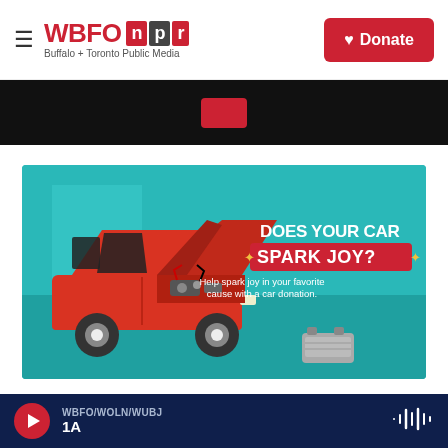WBFO npr — Buffalo + Toronto Public Media — Donate
[Figure (infographic): Infographic showing a red van with hood open revealing engine parts, on a teal background. Text reads: DOES YOUR CAR SPARK JOY? Help spark joy in your favorite cause with a car donation.]
Turn Your Car Into The Public Radio
WBFO/WOLN/WUBJ — 1A